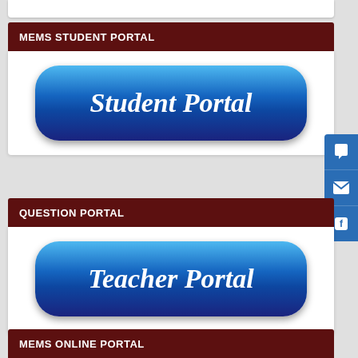MEMS STUDENT PORTAL
[Figure (illustration): Blue rounded rectangle button labeled 'Student Portal' in white italic serif text]
QUESTION PORTAL
[Figure (illustration): Blue rounded rectangle button labeled 'Teacher Portal' in white italic serif text]
MEMS ONLINE PORTAL